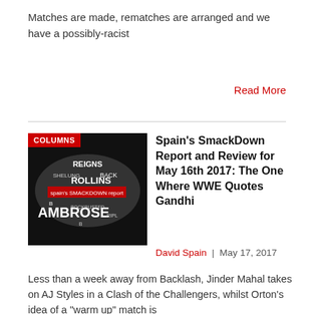Matches are made, rematches are arranged and we have a possibly-racist
Read More
[Figure (illustration): Word cloud image with wrestling-related terms (REIGNS, ROLLINS, AMBROSE, BACK, etc.) with a red 'spain's SmackDown report' label overlay, labeled COLUMNS badge]
Spain's SmackDown Report and Review for May 16th 2017: The One Where WWE Quotes Gandhi
David Spain  |  May 17, 2017
Less than a week away from Backlash, Jinder Mahal takes on AJ Styles in a Clash of the Challengers, whilst Orton's idea of a "warm up" match is
Read More